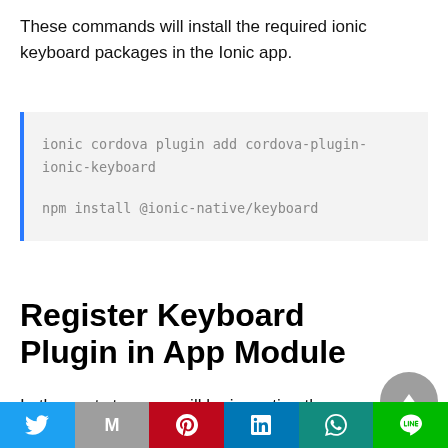These commands will install the required ionic keyboard packages in the Ionic app.
ionic cordova plugin add cordova-plugin-ionic-keyboard

npm install @ionic-native/keyboard
Register Keyboard Plugin in App Module
In the next step, you will be importing the Keyboard module in the app module class.